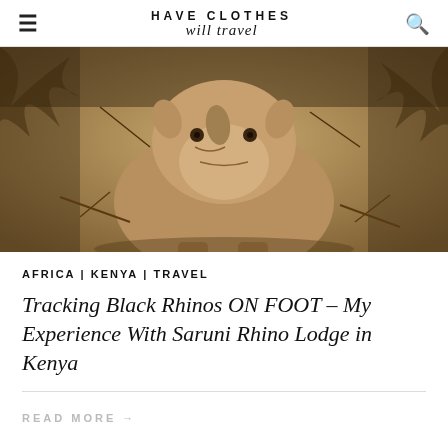≡  HAVE CLOTHES will travel  🔍
[Figure (photo): Close-up photo of a young black rhinoceros walking toward the camera through dry bush in Kenya. The rhino is shot from a low angle, filling the frame.]
AFRICA | KENYA | TRAVEL
Tracking Black Rhinos ON FOOT – My Experience With Saruni Rhino Lodge in Kenya
READ MORE →